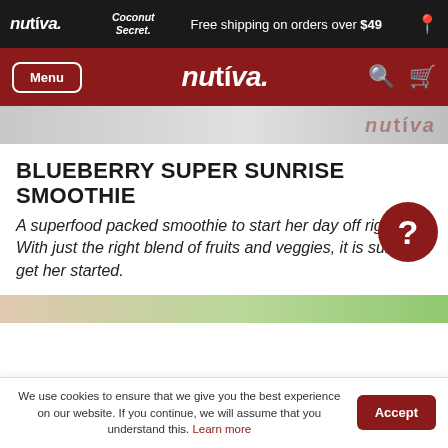nutiva | Coconut Secret | Free shipping on orders over $49
Menu | nutiva
[Figure (screenshot): Partial product image strip showing nutiva branding on gradient background]
BLUEBERRY SUPER SUNRISE SMOOTHIE
A superfood packed smoothie to start her day off right. With just the right blend of fruits and veggies, it is sure to get her started.
[Figure (photo): Partial bottom strip showing fruits and vegetables in greenish background]
We use cookies to ensure that we give you the best experience on our website. If you continue, we will assume that you understand this. Learn more